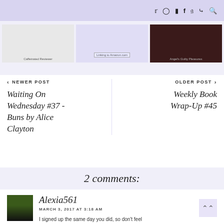Navigation icons: Twitter, Instagram, Blog, Facebook, Pinterest, RSS, Search
[Figure (screenshot): Three book cover image thumbnails in a horizontal strip: Caffeinated Reviewer (light background), a purple-bordered cover, and Angel's Guilty Pleasures (dark background)]
‹ NEWER POST | Waiting On Wednesday #37 - Buns by Alice Clayton
OLDER POST › | Weekly Book Wrap-Up #45
2 comments:
Alexia561
MARCH 3, 2017 AT 3:18 AM
I signed up the same day you did, so don't feel bad! I also better up the finish this challenge…